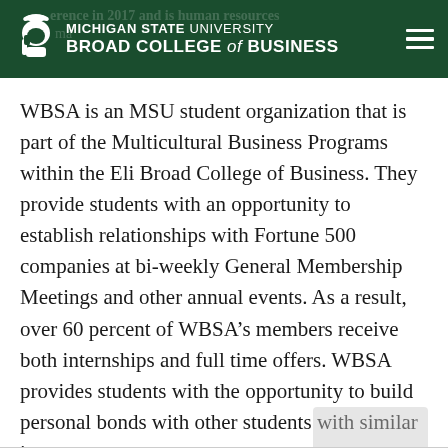MICHIGAN STATE UNIVERSITY BROAD COLLEGE of BUSINESS
WBSA is an MSU student organization that is part of the Multicultural Business Programs within the Eli Broad College of Business. They provide students with an opportunity to establish relationships with Fortune 500 companies at bi-weekly General Membership Meetings and other annual events. As a result, over 60 percent of WBSA’s members receive both internships and full time offers. WBSA provides students with the opportunity to build personal bonds with other students with similar interests.